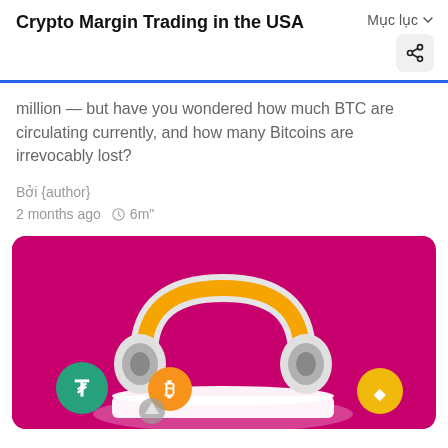Crypto Margin Trading in the USA
Mục lục
million — but have you wondered how much BTC are circulating currently, and how many Bitcoins are irrevocably lost?
Bởi {author}
2 months ago   🕐 6m"
[Figure (illustration): 3D illustration on a magenta/pink background showing a white and orange headset with cryptocurrency coin icons: Tether (USDT, green), Bitcoin (BTC, orange), and Binance (BNB, yellow/gold) placed on a white platform below the headset.]